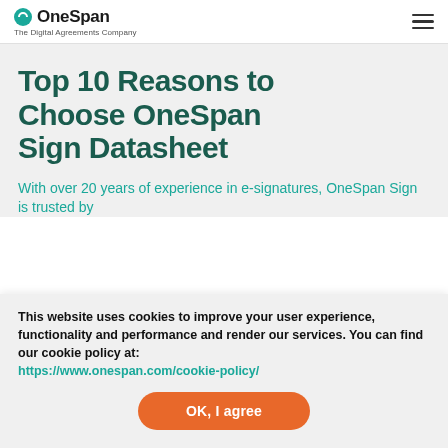OneSpan — The Digital Agreements Company
Top 10 Reasons to Choose OneSpan Sign Datasheet
With over 20 years of experience in e-signatures, OneSpan Sign is trusted by
This website uses cookies to improve your user experience, functionality and performance and render our services. You can find our cookie policy at: https://www.onespan.com/cookie-policy/
OK, I agree